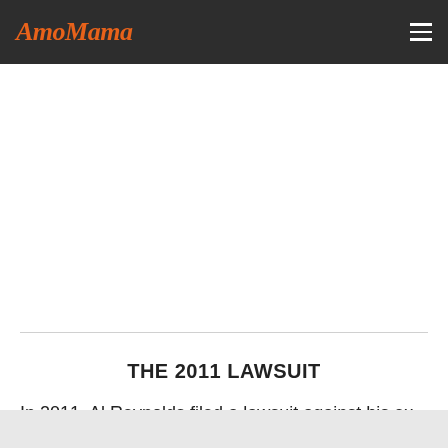AmoMama
THE 2011 LAWSUIT
In 2011, Al Reynolds filed a lawsuit against his ex-wife for supposedly breaching one of the clauses of their